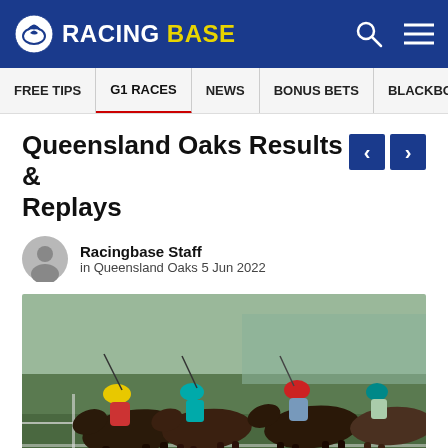RACING BASE
FREE TIPS | G1 RACES | NEWS | BONUS BETS | BLACKBOOK
Queensland Oaks Results & Replays
Racingbase Staff
in Queensland Oaks 5 Jun 2022
[Figure (photo): Horse race photo showing multiple jockeys including one in yellow helmet, one in teal/blue, one in red helmet, competing in the Queensland Oaks at a turf track]